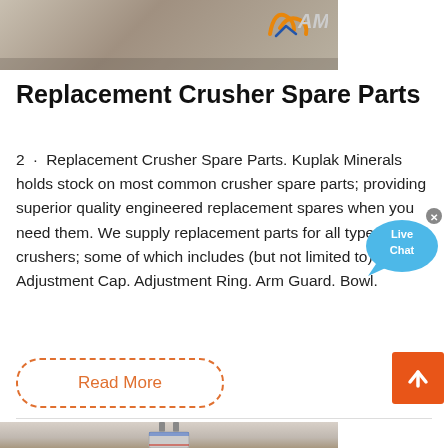[Figure (photo): Photo of crushed stone/gravel yard with AMC logo visible in upper right corner]
Replacement Crusher Spare Parts
2 · Replacement Crusher Spare Parts. Kuplak Minerals holds stock on most common crusher spare parts; providing superior quality engineered replacement spares when you need them. We supply replacement parts for all types of crushers; some of which includes (but not limited to): Adjustment Cap. Adjustment Ring. Arm Guard. Bowl.
[Figure (screenshot): Live Chat button widget (blue speech bubble with X close button)]
Read More
[Figure (photo): Photo of AMC crusher equipment outdoors with bare winter trees in background]